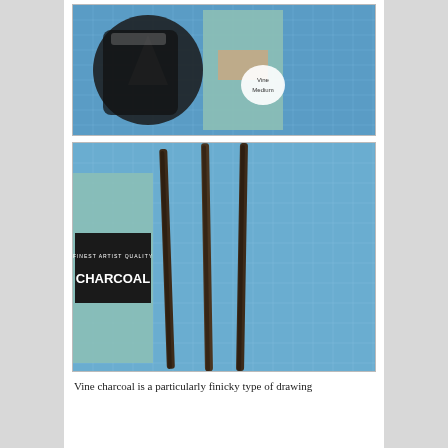[Figure (photo): Photo of vine charcoal package in black plastic bag and a green box labeled 'Vine Medium' on a blue cutting mat]
[Figure (photo): Photo of three charcoal sticks laid on a blue cutting mat next to a green box labeled 'Finest Artist Quality Charcoal']
Vine charcoal is a particularly finicky type of drawing